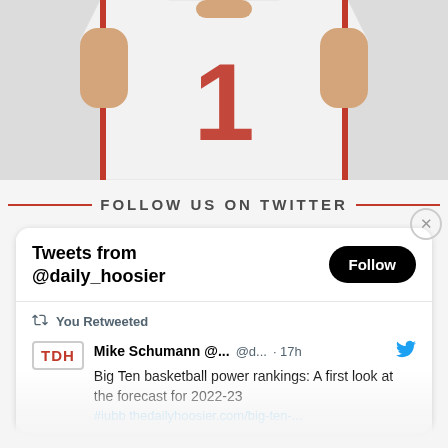[Figure (photo): Basketball player torso wearing a white jersey with the number 1 in red]
FOLLOW US ON TWITTER
Tweets from @daily_hoosier
You Retweeted
Mike Schumann @... @d... · 17h
Big Ten basketball power rankings: A first look at the forecast for 2022-23
#iubb thedailyhoosier.com/big-ten-...